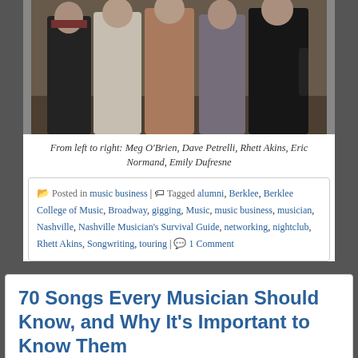[Figure (photo): Group photo of five people standing together: Meg O'Brien, Dave Petrelli, Rhett Akins, Eric Normand, Emily Dufresne]
From left to right: Meg O'Brien, Dave Petrelli, Rhett Akins, Eric Normand, Emily Dufresne
Posted in music business | Tagged alumni, Berklee, Berklee College of Music, Broadway, gigging, Music, music business, musician, Nashville, Nashville Musician's Survival Guide, networking, nightclub, Rhett Akins, Songwriting, touring | 1 Comment
70 Songs Every Musician Should Know, and Why It's Important to Know Them
Published October 20, 2011 | By Eric